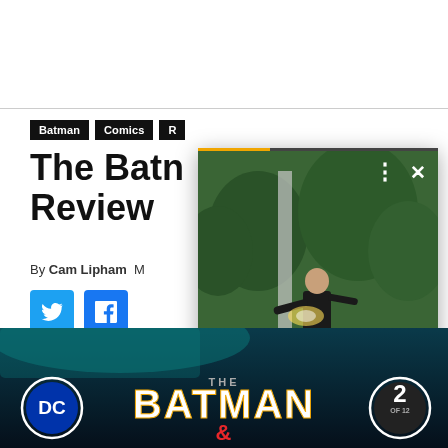Batman
Comics
The Batman & Robin Review
By Cam Lipham  M...
[Figure (screenshot): Video overlay card showing a man in action scene outdoors. Caption reads: Stargirl episode photos show the murder mystery is deepening. Has progress bar, close button, dots menu, and yellow arrow navigation button.]
[Figure (photo): Bottom banner showing The Batman comic book cover with DC logo on left and issue number 2 of 12 badge on right, dark blue background.]